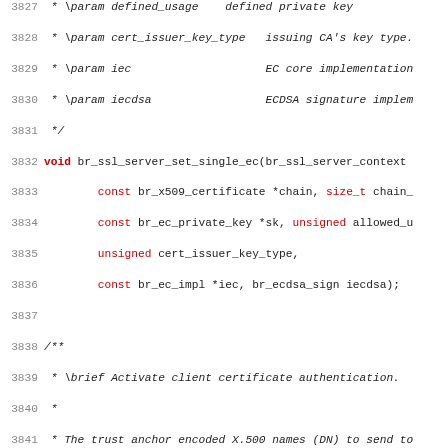Source code documentation page showing C API for BearSSL library, lines 3827-3859
Function documentation for br_ssl_server_set_single_ec and br_ssl_server_set_trust_anchor_names